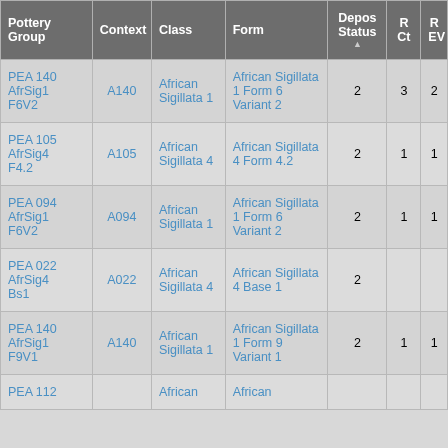| Pottery Group | Context | Class | Form | Depos Status ▲ | R Ct | R EV |
| --- | --- | --- | --- | --- | --- | --- |
| PEA 140 AfrSig1 F6V2 | A140 | African Sigillata 1 | African Sigillata 1 Form 6 Variant 2 | 2 | 3 | 2 |
| PEA 105 AfrSig4 F4.2 | A105 | African Sigillata 4 | African Sigillata 4 Form 4.2 | 2 | 1 | 1 |
| PEA 094 AfrSig1 F6V2 | A094 | African Sigillata 1 | African Sigillata 1 Form 6 Variant 2 | 2 | 1 | 1 |
| PEA 022 AfrSig4 Bs1 | A022 | African Sigillata 4 | African Sigillata 4 Base 1 | 2 |  |  |
| PEA 140 AfrSig1 F9V1 | A140 | African Sigillata 1 | African Sigillata 1 Form 9 Variant 1 | 2 | 1 | 1 |
| PEA 112... |  | African... | African... |  |  |  |